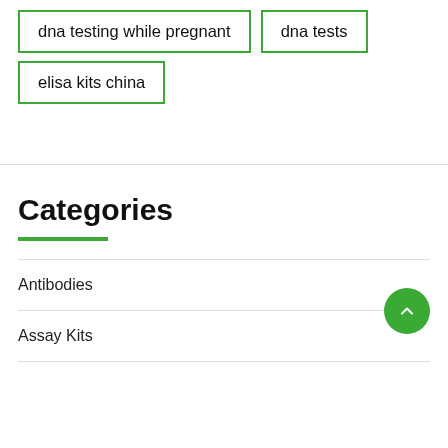dna testing while pregnant
dna tests
elisa kits china
Categories
Antibodies
Assay Kits